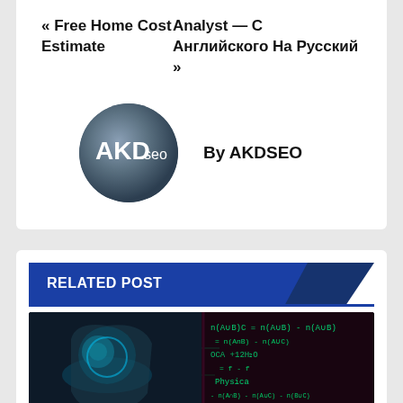« Free Home Cost Estimate
Analyst — С Английского На Русский »
By AKDSEO
[Figure (logo): AKD SEO circular logo with grey-blue gradient background and white text 'AKD seo']
RELATED POST
[Figure (photo): A composite image showing a robot/AI face on the left side (blue-teal tones) and mathematical equations/formulas on the right side (dark with green text). Label 'BUSINESS MARKETS' at the bottom.]